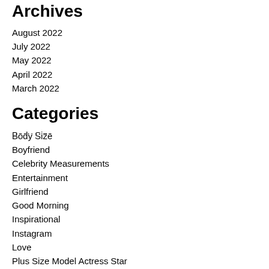Archives
August 2022
July 2022
May 2022
April 2022
March 2022
Categories
Body Size
Boyfriend
Celebrity Measurements
Entertainment
Girlfriend
Good Morning
Inspirational
Instagram
Love
Plus Size Model Actress Star
Quotes
Social Media Star